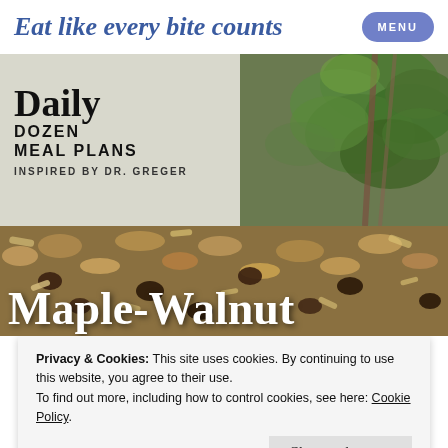Eat like every bite counts
[Figure (photo): Banner with plant/herb photo on right side, Daily Dozen Meal Plans logo on left]
[Figure (photo): Close-up photo of granola/trail mix with nuts, raisins, oats, coconut shavings]
Maple-Walnut
Privacy & Cookies: This site uses cookies. By continuing to use this website, you agree to their use.
To find out more, including how to control cookies, see here: Cookie Policy
Close and accept
without banana chips and coconut shavings, thank you very much! This recipe